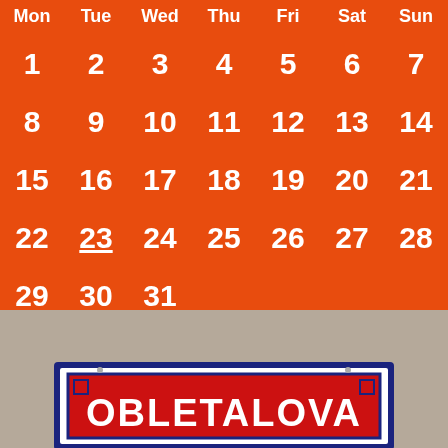| Mon | Tue | Wed | Thu | Fri | Sat | Sun |
| --- | --- | --- | --- | --- | --- | --- |
| 1 | 2 | 3 | 4 | 5 | 6 | 7 |
| 8 | 9 | 10 | 11 | 12 | 13 | 14 |
| 15 | 16 | 17 | 18 | 19 | 20 | 21 |
| 22 | 23 | 24 | 25 | 26 | 27 | 28 |
| 29 | 30 | 31 |  |  |  |  |
[Figure (photo): A vintage enamel street sign reading OBLETALOVA mounted on a beige/grey wall. The sign has a red background with white bold lettering, framed by a dark navy blue decorative border with corner ornaments.]